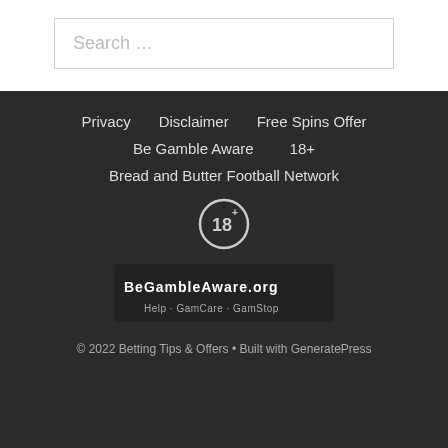Search …
Privacy
Disclaimer
Free Spins Offer
Be Gamble Aware
18+
Bread and Butter Football Network
[Figure (logo): 18+ age restriction circular badge icon]
[Figure (logo): BeGambleAware.org logo with tagline]
© 2022 Betting Tips & Offers • Built with GeneratePress